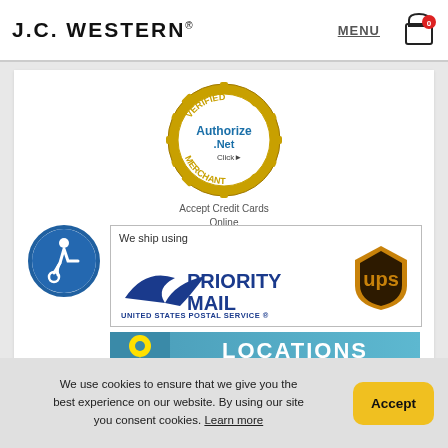J.C. WESTERN® | MENU | Cart 0
[Figure (logo): Authorize.Net Verified Merchant seal - gold gear-ring border with blue Authorize.Net text and 'Click' arrow, labeled 'Accept Credit Cards Online']
[Figure (infographic): We ship using USPS Priority Mail and UPS logos banner]
[Figure (infographic): Locations button with yellow map pin icon on teal/blue background]
[Figure (logo): Blue wheelchair accessibility icon in circle]
We use cookies to ensure that we give you the best experience on our website. By using our site you consent cookies. Learn more